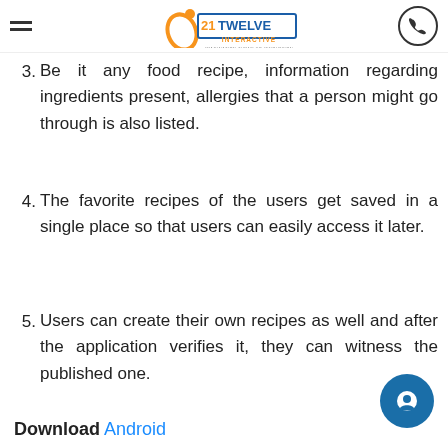21Twelve Interactive — navigation header with logo and phone icon
3. Be it any food recipe, information regarding ingredients present, allergies that a person might go through is also listed.
4. The favorite recipes of the users get saved in a single place so that users can easily access it later.
5. Users can create their own recipes as well and after the application verifies it, they can witness the published one.
Download Android